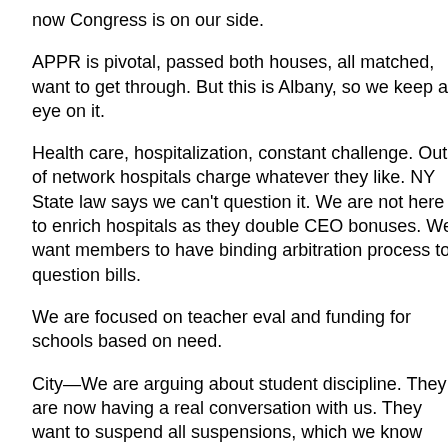now Congress is on our side.
APPR is pivotal, passed both houses, all matched, want to get through. But this is Albany, so we keep an eye on it.
Health care, hospitalization, constant challenge. Out of network hospitals charge whatever they like. NY State law says we can't question it. We are not here to enrich hospitals as they double CEO bonuses. We want members to have binding arbitration process to question bills.
We are focused on teacher eval and funding for schools based on need.
City—We are arguing about student discipline. They are now having a real conversation with us. They want to suspend all suspensions, which we know won't work. We cannot base policies only on children who act out.
City budget right after this. State budget ends Sunday or Monday, and then we go into City Council budget. We want to change culture of observations and eval. I will be harsher on Tweed, because they don't help, thinks schools